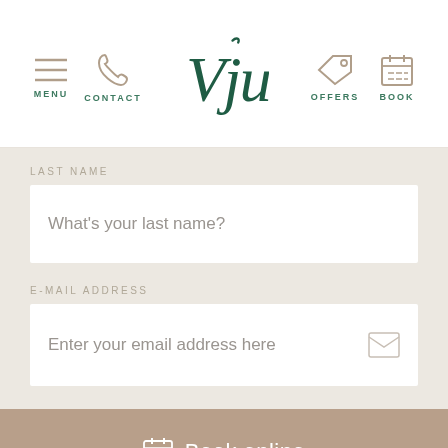[Figure (screenshot): Navigation bar with menu, contact, Vju logo, offers, and book icons]
LAST NAME
What's your last name?
E-MAIL ADDRESS
Enter your email address here
TELEPHONE NUMBER
Book online